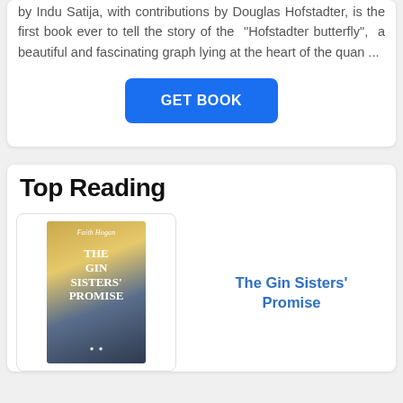by Indu Satija, with contributions by Douglas Hofstadter, is the first book ever to tell the story of the "Hofstadter butterfly", a beautiful and fascinating graph lying at the heart of the quan ...
GET BOOK
Top Reading
[Figure (illustration): Book cover of 'The Gin Sisters' Promise' by Faith Hogan. Cover shows warm sunset tones with a silhouette of a building.]
The Gin Sisters' Promise